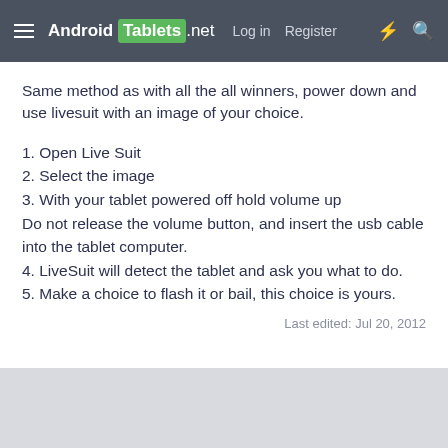Android Tablets .net  Log in  Register
Same method as with all the all winners, power down and use livesuit with an image of your choice.
1. Open Live Suit
2. Select the image
3. With your tablet powered off hold volume up Do not release the volume button, and insert the usb cable into the tablet computer.
4. LiveSuit will detect the tablet and ask you what to do.
5. Make a choice to flash it or bail, this choice is yours.
Last edited: Jul 20, 2012